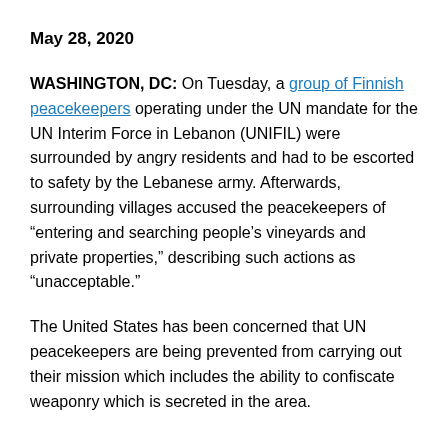May 28, 2020
WASHINGTON, DC: On Tuesday, a group of Finnish peacekeepers operating under the UN mandate for the UN Interim Force in Lebanon (UNIFIL) were surrounded by angry residents and had to be escorted to safety by the Lebanese army. Afterwards, surrounding villages accused the peacekeepers of “entering and searching people’s vineyards and private properties,” describing such actions as “unacceptable.”
The United States has been concerned that UN peacekeepers are being prevented from carrying out their mission which includes the ability to confiscate weaponry which is secreted in the area.